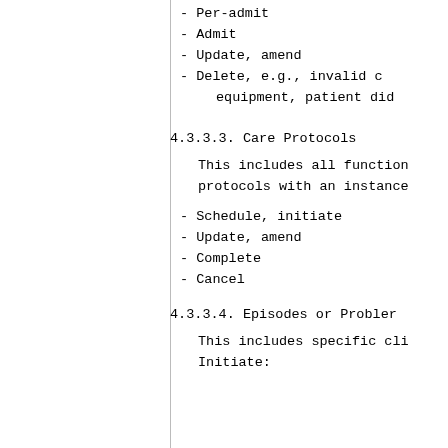- Per-admit
- Admit
- Update, amend
- Delete, e.g., invalid c equipment, patient did
4.3.3.3.  Care Protocols
This includes all function protocols with an instance
- Schedule, initiate
- Update, amend
- Complete
- Cancel
4.3.3.4.  Episodes or Probler
This includes specific cli Initiate: